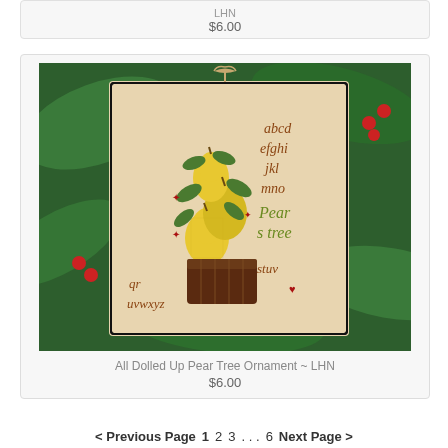LHN
$6.00
[Figure (photo): Cross stitch ornament showing a pear tree in a basket with alphabet letters and berries, laid on green holly leaves]
All Dolled Up Pear Tree Ornament ~ LHN
$6.00
< Previous Page   1  2  3 . . . 6   Next Page >